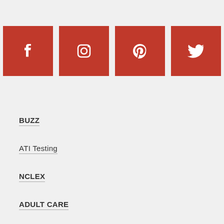[Figure (illustration): Four red square social media icons in a row: Facebook, Instagram, Pinterest, Twitter]
BUZZ
ATI Testing
NCLEX
ADULT CARE
Cardiovascular
Endocrine
Gastrointestinal
Genitourinary
Hematologic & Immune
Integumentary